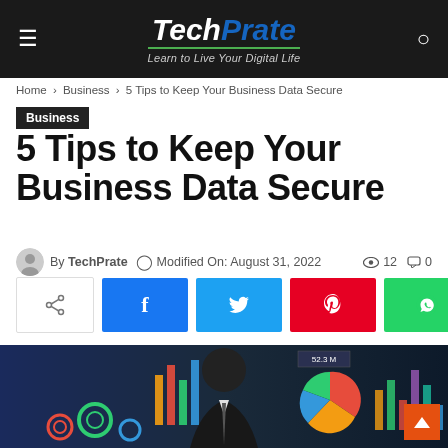TechPrate — Learn to Live Your Digital Life
Home › Business › 5 Tips to Keep Your Business Data Secure
Business
5 Tips to Keep Your Business Data Secure
By TechPrate  Modified On: August 31, 2022  👁 12  💬 0
[Figure (infographic): Social share buttons: share icon, Facebook, Twitter, Pinterest, WhatsApp]
[Figure (photo): Business person in suit with overlaid data visualizations including charts, gears, and dashboard graphics]